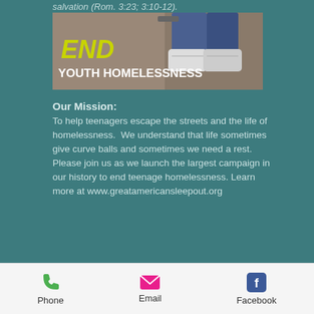salvation (Rom. 3:23; 3:10-12).
[Figure (photo): Banner image showing youth sneakers/feet on pavement with text 'END YOUTH HOMELESSNESS' in bold white and yellow lettering]
Our Mission:
To help teenagers escape the streets and the life of homelessness.  We understand that life sometimes give curve balls and sometimes we need a rest. Please join us as we launch the largest campaign in our history to end teenage homelessness. Learn more at www.greatamericansleepout.org
Phone   Email   Facebook